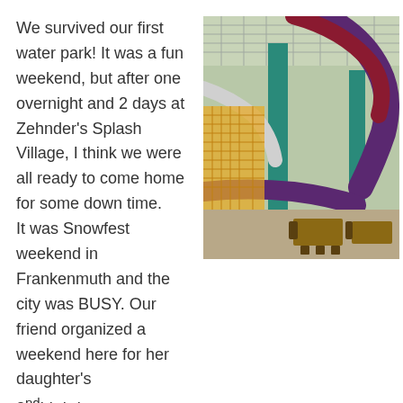We survived our first water park! It was a fun weekend, but after one overnight and 2 days at Zehnder's Splash Village, I think we were all ready to come home for some down time.
It was Snowfest weekend in Frankenmuth and the city was BUSY. Our friend organized a weekend here for her daughter's 2nd birthday.  This is my idea of party planning – just tell everyone where you'll be and they can book their own rooms. Easy enough!
[Figure (photo): Indoor water park showing large colorful water slides (purple and red tubes) winding through a tall structure with metal scaffolding, a yellow net wall, and dining tables with wooden chairs in the foreground.]